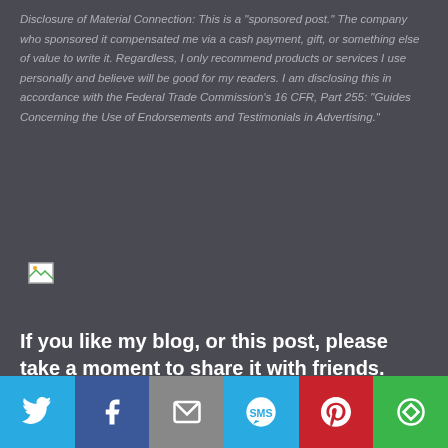Disclosure of Material Connection: This is a "sponsored post." The company who sponsored it compensated me via a cash payment, gift, or something else of value to write it. Regardless, I only recommend products or services I use personally and believe will be good for my readers. I am disclosing this in accordance with the Federal Trade Commission's 16 CFR, Part 255: "Guides Concerning the Use of Endorsements and Testimonials in Advertising."
[Figure (other): Broken image placeholder icon]
If you like my blog, or this post, please take a moment to share it with friends.
Share this on Facebook?
[Figure (infographic): Social sharing bar with Twitter, Facebook, Email, SMS, Pinterest, and More buttons]